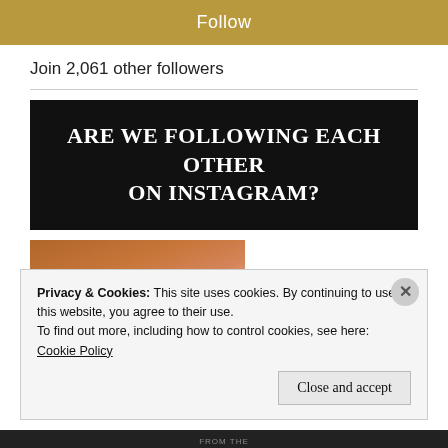[Figure (screenshot): Gold/tan colored Follow button banner]
Join 2,061 other followers
[Figure (screenshot): Black banner with white text: ARE WE FOLLOWING EACH OTHER ON INSTAGRAM?]
[Figure (photo): Partial photo showing top of a person's blonde/light hair with a reddish-brown surface above]
Privacy & Cookies: This site uses cookies. By continuing to use this website, you agree to their use.
To find out more, including how to control cookies, see here: Cookie Policy
Close and accept